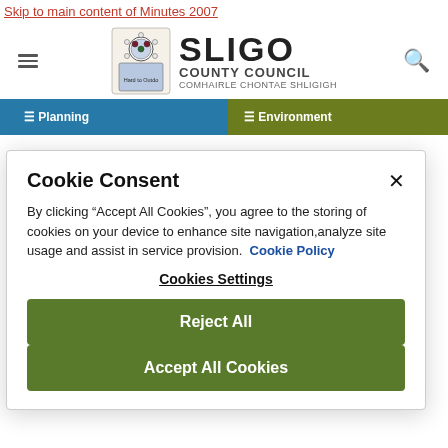Skip to main content of Minutes 2007
[Figure (logo): Sligo County Council logo with crest and text: SLIGO COUNTY COUNCIL, COMHAIRLE CHONTAE SHLIGIGH]
[Figure (screenshot): Navigation bar with blue section (Planning) and olive/green section (Environment)]
Cookie Consent
By clicking “Accept All Cookies”, you agree to the storing of cookies on your device to enhance site navigation,analyze site usage and assist in service provision.  Cookie Policy
Cookies Settings
Reject All
Accept All Cookies